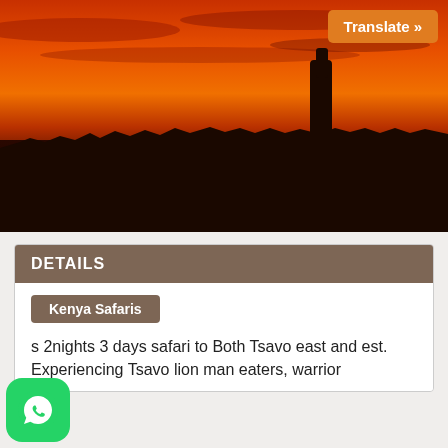[Figure (photo): Silhouette of a giraffe against a dramatic orange and red sunset sky over an African savanna landscape.]
Translate »
DETAILS
Kenya Safaris
s 2nights 3 days safari to Both Tsavo east and est. Experiencing Tsavo lion man eaters, warrior